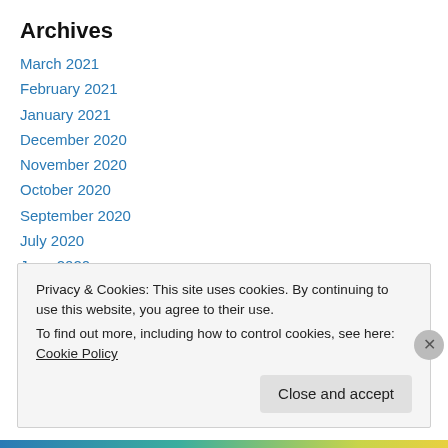Archives
March 2021
February 2021
January 2021
December 2020
November 2020
October 2020
September 2020
July 2020
June 2020
May 2020
December 2019
Privacy & Cookies: This site uses cookies. By continuing to use this website, you agree to their use. To find out more, including how to control cookies, see here: Cookie Policy
Close and accept